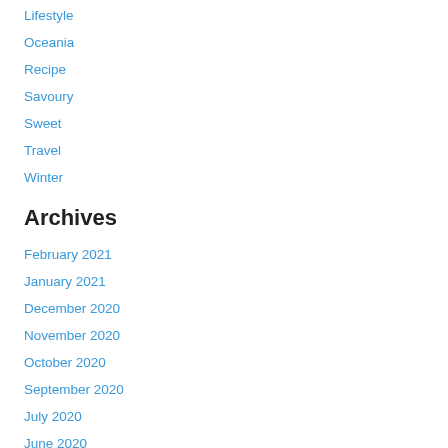Lifestyle
Oceania
Recipe
Savoury
Sweet
Travel
Winter
Archives
February 2021
January 2021
December 2020
November 2020
October 2020
September 2020
July 2020
June 2020
May 2020
April 2020
March 2020
February 2020
January 2020